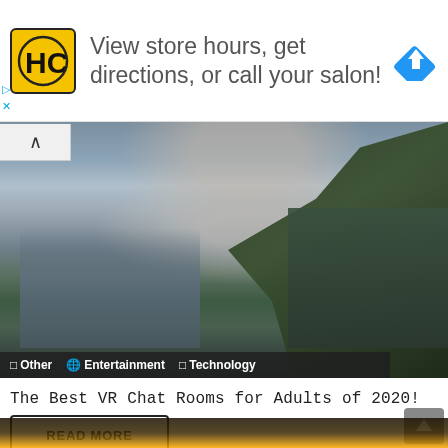[Figure (screenshot): Advertisement banner with HC yellow logo, text 'View store hours, get directions, or call your salon!' and a blue navigation arrow icon on the right. Small play and X controls on left side.]
[Figure (photo): Composite image showing a bearded man in white shirt overlaid with a cityscape and mountain/cliff landscape in dark green tones. Category tags bar at bottom showing 'Other', 'Entertainment', 'Technology'.]
The Best VR Chat Rooms for Adults of 2020!
READ MORE
[Figure (photo): Partial bottom preview of another article image showing dark scene with orange/yellow glow elements.]